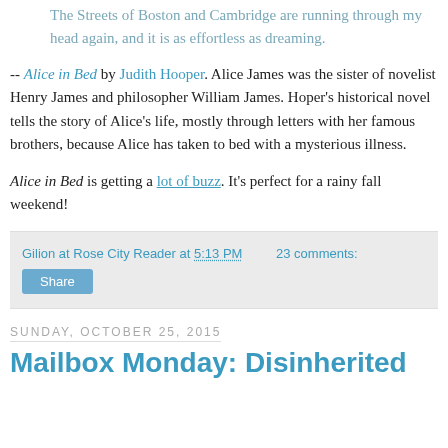The Streets of Boston and Cambridge are running through my head again, and it is as effortless as dreaming.
-- Alice in Bed by Judith Hooper. Alice James was the sister of novelist Henry James and philosopher William James. Hoper's historical novel tells the story of Alice's life, mostly through letters with her famous brothers, because Alice has taken to bed with a mysterious illness.
Alice in Bed is getting a lot of buzz. It's perfect for a rainy fall weekend!
Gilion at Rose City Reader at 5:13 PM   23 comments:   Share
Sunday, October 25, 2015
Mailbox Monday: Disinherited